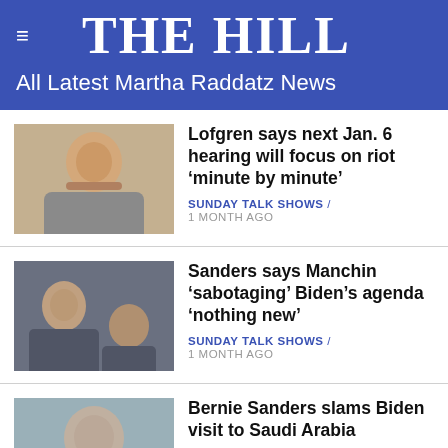THE HILL
All Latest Martha Raddatz News
Lofgren says next Jan. 6 hearing will focus on riot ‘minute by minute’
SUNDAY TALK SHOWS / 1 MONTH AGO
Sanders says Manchin ‘sabotaging’ Biden’s agenda ‘nothing new’
SUNDAY TALK SHOWS / 1 MONTH AGO
Bernie Sanders slams Biden visit to Saudi Arabia